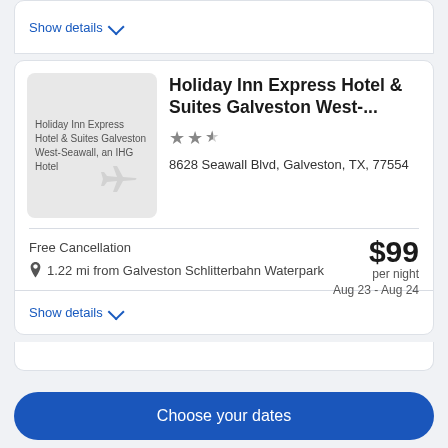Show details
[Figure (photo): Holiday Inn Express Hotel & Suites Galveston West-Seawall, an IHG Hotel property image placeholder with airplane icon]
Holiday Inn Express Hotel & Suites Galveston West-...
★ ★ ½
8628 Seawall Blvd, Galveston, TX, 77554
Free Cancellation
$99 per night Aug 23 - Aug 24
1.22 mi from Galveston Schlitterbahn Waterpark
Show details
Choose your dates